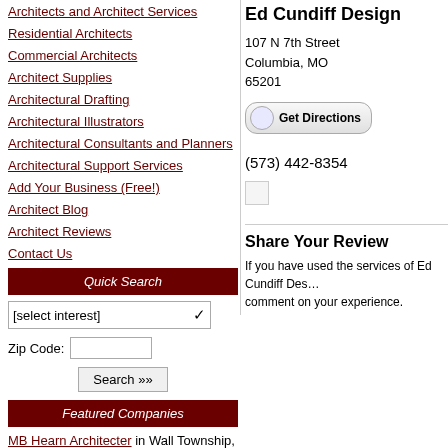Architects and Architect Services
Residential Architects
Commercial Architects
Architect Supplies
Architectural Drafting
Architectural Illustrators
Architectural Consultants and Planners
Architectural Support Services
Add Your Business (Free!)
Architect Blog
Architect Reviews
Contact Us
Quick Search
Featured Companies
MB Hearn Architecter in Wall Township, NJ
Jacobson Interest in Whitehouse, TX
Ed Cundiff Design
107 N 7th Street
Columbia, MO
65201
(573) 442-8354
[Figure (illustration): Small broken image icon]
Share Your Review
If you have used the services of Ed Cundiff Des... comment on your experience.